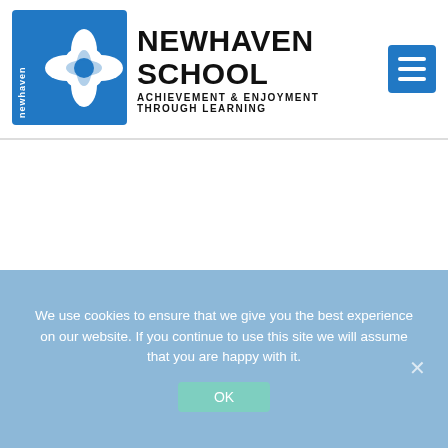[Figure (logo): Newhaven School logo: blue snowflake/flower geometric shape with 'newhaven' text vertically on left side]
NEWHAVEN SCHOOL
ACHIEVEMENT & ENJOYMENT THROUGH LEARNING
[Figure (other): Blue hamburger menu button with three horizontal white lines]
We use cookies to ensure that we give you the best experience on our website. If you continue to use this site we will assume that you are happy with it.
OK